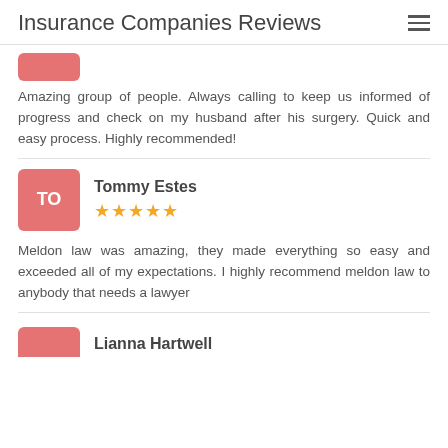Insurance Companies Reviews
Amazing group of people. Always calling to keep us informed of progress and check on my husband after his surgery. Quick and easy process. Highly recommended!
Tommy Estes ★★★★★
Meldon law was amazing, they made everything so easy and exceeded all of my expectations. I highly recommend meldon law to anybody that needs a lawyer
Lianna Hartwell